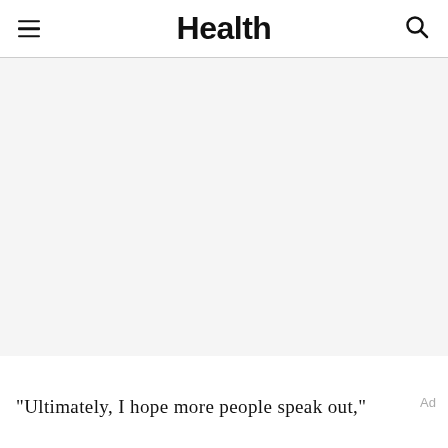Health
[Figure (photo): Large image area (blank/not loaded) below the Health magazine header]
"Ultimately, I hope more people speak out,"
Ad